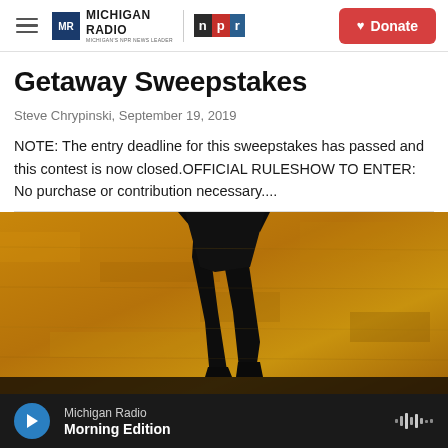Michigan Radio | NPR | Donate
Getaway Sweepstakes
Steve Chrypinski,  September 19, 2019
NOTE: The entry deadline for this sweepstakes has passed and this contest is now closed.OFFICIAL RULESHOW TO ENTER: No purchase or contribution necessary....
[Figure (photo): Silhouette of a person's legs walking against a golden/amber textured background]
Michigan Radio  Morning Edition